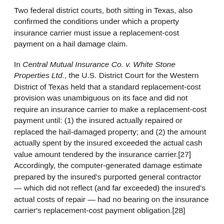Two federal district courts, both sitting in Texas, also confirmed the conditions under which a property insurance carrier must issue a replacement-cost payment on a hail damage claim.
In Central Mutual Insurance Co. v. White Stone Properties Ltd., the U.S. District Court for the Western District of Texas held that a standard replacement-cost provision was unambiguous on its face and did not require an insurance carrier to make a replacement-cost payment until: (1) the insured actually repaired or replaced the hail-damaged property; and (2) the amount actually spent by the insured exceeded the actual cash value amount tendered by the insurance carrier.[27] Accordingly, the computer-generated damage estimate prepared by the insured's purported general contractor — which did not reflect (and far exceeded) the insured's actual costs of repair — had no bearing on the insurance carrier's replacement-cost payment obligation.[28]